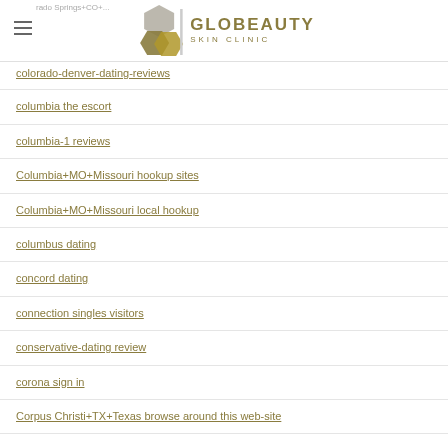GLOBEAUTY SKIN CLINIC
colorado-denver-dating-reviews
columbia the escort
columbia-1 reviews
Columbia+MO+Missouri hookup sites
Columbia+MO+Missouri local hookup
columbus dating
concord dating
connection singles visitors
conservative-dating review
corona sign in
Corpus Christi+TX+Texas browse around this web-site